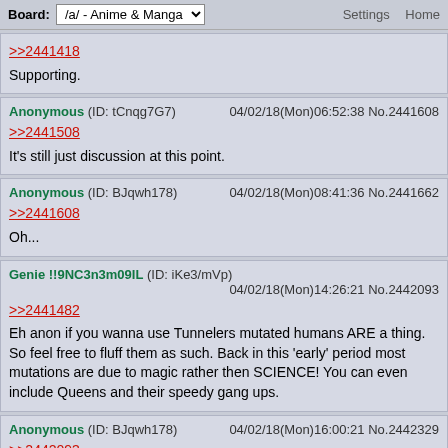Board: /a/ - Anime & Manga  Settings  Home
>>2441418
Supporting.
Anonymous (ID: tCnqg7G7)  04/02/18(Mon)06:52:38 No.2441608
>>2441508
It's still just discussion at this point.
Anonymous (ID: BJqwh178)  04/02/18(Mon)08:41:36 No.2441662
>>2441608
Oh...
Genie !!9NC3n3m09IL (ID: iKe3/mVp)  04/02/18(Mon)14:26:21 No.2442093
>>2441482
Eh anon if you wanna use Tunnelers mutated humans ARE a thing. So feel free to fluff them as such. Back in this 'early' period most mutations are due to magic rather then SCIENCE! You can even include Queens and their speedy gang ups.
Anonymous (ID: BJqwh178)  04/02/18(Mon)16:00:21 No.2442329
>>2442093